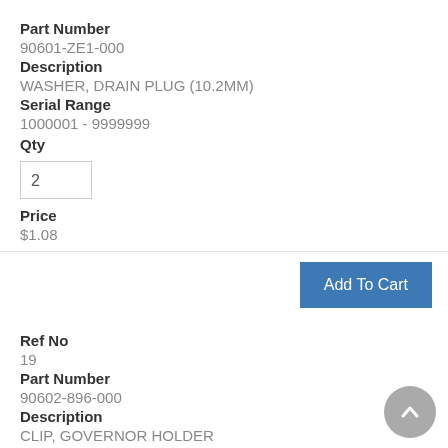Part Number
90601-ZE1-000
Description
WASHER, DRAIN PLUG (10.2MM)
Serial Range
1000001 - 9999999
Qty
2
Price
$1.08
Add To Cart
Ref No
19
Part Number
90602-896-000
Description
CLIP, GOVERNOR HOLDER
Serial Range
1000001 - 1728191